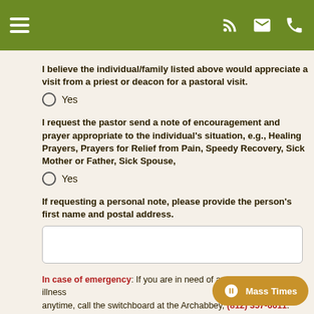Navigation header with hamburger menu and icons
I believe the individual/family listed above would appreciate a visit from a priest or deacon for a pastoral visit.
Yes
I request the pastor send a note of encouragement and prayer appropriate to the individual's situation, e.g., Healing Prayers, Prayers for Relief from Pain, Speedy Recovery, Sick Mother or Father, Sick Spouse,
Yes
If requesting a personal note, please provide the person's first name and postal address.
In case of emergency: If you are in need of a priest due to severe illness anytime, call the switchboard at the Archabbey, (812) 357-6611. Leave a message with the attendant, including your contact information. Father Anth... and will follow up as soon as possible.
First Name